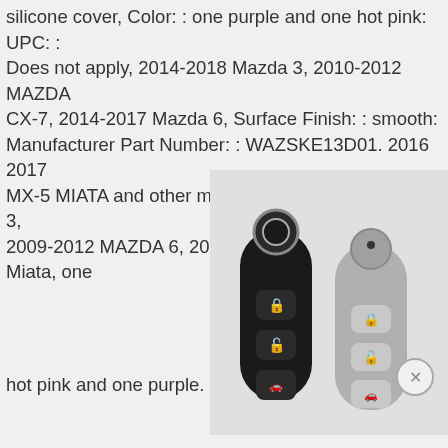silicone cover, Color: : one purple and one hot pink: UPC: : Does not apply, 2014-2018 Mazda 3, 2010-2012 MAZDA CX-7, 2014-2017 Mazda 6, Surface Finish: : smooth: Manufacturer Part Number: : WAZSKE13D01. 2016 2017 MX-5 MIATA and other models. 2009-2012 MAZDA 3, 2009-2012 MAZDA 6, 2009-2012 MAZDA MX-5 Miata, one
[Figure (photo): Two silicone key fob covers for Mazda vehicles — one black and one gray — shown side by side, each with three buttons (lock, unlock, trunk) and a circular ring holder at the top.]
hot pink and one purple.